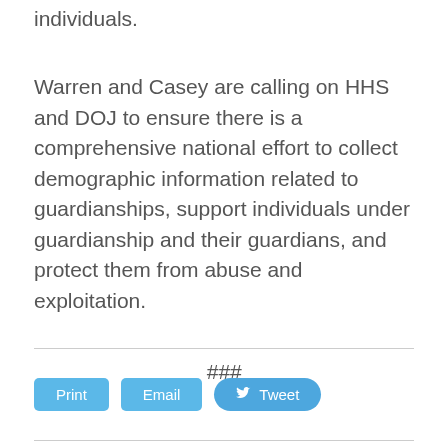individuals.
Warren and Casey are calling on HHS and DOJ to ensure there is a comprehensive national effort to collect demographic information related to guardianships, support individuals under guardianship and their guardians, and protect them from abuse and exploitation.
###
Print   Email   Tweet